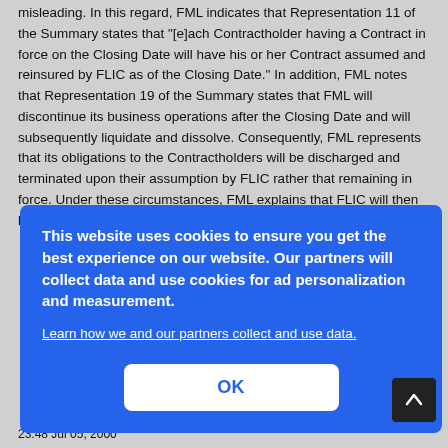misleading. In this regard, FML indicates that Representation 11 of the Summary states that "[e]ach Contractholder having a Contract in force on the Closing Date will have his or her Contract assumed and reinsured by FLIC as of the Closing Date." In addition, FML notes that Representation 19 of the Summary states that FML will discontinue its business operations after the Closing Date and will subsequently liquidate and dissolve. Consequently, FML represents that its obligations to the Contractholders will be discharged and terminated upon their assumption by FLIC rather that remaining in force. Under these circumstances, FML explains that FLIC will then be responsible for those … Thus, … … s of a … al … n by …
[Figure (screenshot): Cookie consent popup overlay with blue background. Text reads: 'This website uses cookies to ensure you get the best experience on our website. Our partners will collect data and use cookies for ad personalization and measurement.' A link reads 'Learn how we and our partners collect and use data.' An OK button is shown at the bottom.]
23:48 Jul 05, 2000